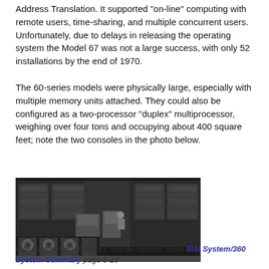Address Translation. It supported "on-line" computing with remote users, time-sharing, and multiple concurrent users. Unfortunately, due to delays in releasing the operating system the Model 67 was not a large success, with only 52 installations by the end of 1970.
The 60-series models were physically large, especially with multiple memory units attached. They could also be configured as a two-processor "duplex" multiprocessor, weighing over four tons and occupying about 400 square feet; note the two consoles in the photo below.
[Figure (photo): Black and white photograph of an IBM System/360 Model 67 duplex system showing large mainframe computer units with two operator consoles, magnetic tape drives in foreground, and an operator seated at one console.]
IBM System/360 Model 67, duplex system. From IBM System/360 System Summary page 6-13